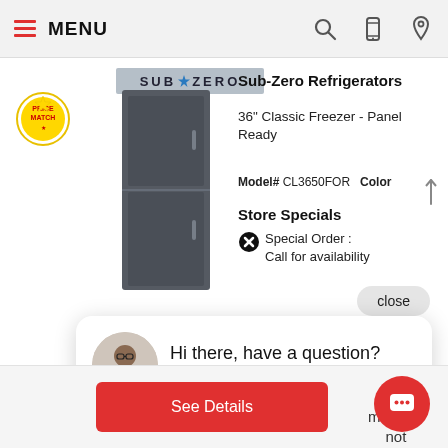MENU
[Figure (logo): Sub-Zero brand logo banner in gray]
[Figure (photo): Price Match badge/sticker logo]
[Figure (photo): Sub-Zero 36 inch Classic Freezer Panel Ready refrigerator product image in dark gray]
Sub-Zero Refrigerators
36" Classic Freezer - Panel Ready
Model# CL3650FOR  Color
Store Specials
Special Order : Call for availability
close
Hi there, have a question? Text us here.
See Details
This model is not